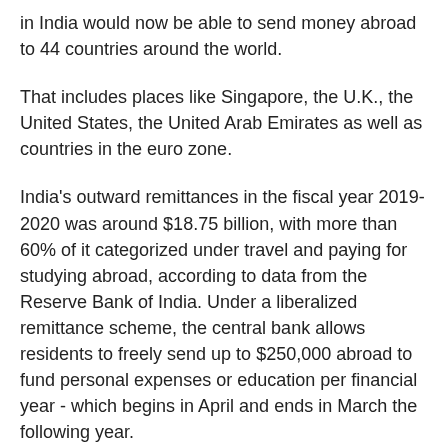in India would now be able to send money abroad to 44 countries around the world.
That includes places like Singapore, the U.K., the United States, the United Arab Emirates as well as countries in the euro zone.
India's outward remittances in the fiscal year 2019-2020 was around $18.75 billion, with more than 60% of it categorized under travel and paying for studying abroad, according to data from the Reserve Bank of India. Under a liberalized remittance scheme, the central bank allows residents to freely send up to $250,000 abroad to fund personal expenses or education per financial year - which begins in April and ends in March the following year.